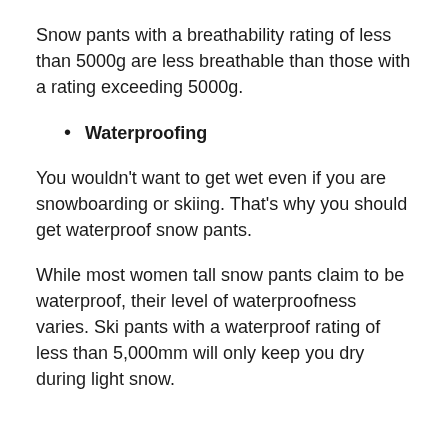Snow pants with a breathability rating of less than 5000g are less breathable than those with a rating exceeding 5000g.
Waterproofing
You wouldn't want to get wet even if you are snowboarding or skiing. That's why you should get waterproof snow pants.
While most women tall snow pants claim to be waterproof, their level of waterproofness varies. Ski pants with a waterproof rating of less than 5,000mm will only keep you dry during light snow.